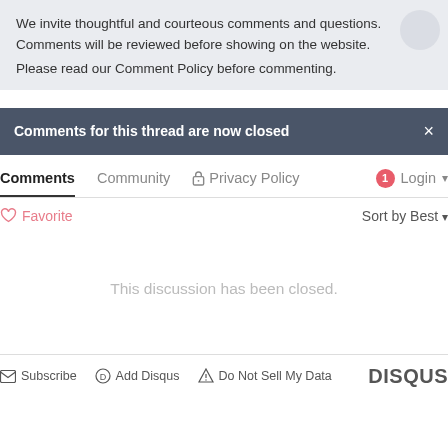We invite thoughtful and courteous comments and questions. Comments will be reviewed before showing on the website.
Please read our Comment Policy before commenting.
Comments for this thread are now closed
Comments  Community  Privacy Policy  Login
Favorite  Sort by Best
This discussion has been closed.
Subscribe  Add Disqus  Do Not Sell My Data  DISQUS